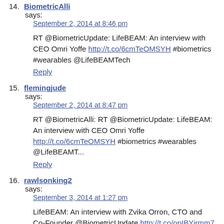14. BiometricAlli says: September 2, 2014 at 8:46 pm
RT @BiometricUpdate: LifeBEAM: An interview with CEO Omri Yoffe http://t.co/6cmTeOMSYH #biometrics #wearables @LifeBEAMTech
Reply
15. flemingjude says: September 2, 2014 at 8:47 pm
RT @BiometricAlli: RT @BiometricUpdate: LifeBEAM: An interview with CEO Omri Yoffe http://t.co/6cmTeOMSYH #biometrics #wearables @LifeBEAMT...
Reply
16. rawlsonking2 says: September 3, 2014 at 1:27 pm
LifeBEAM: An interview with Zvika Orron, CTO and Co-Founder @BiometricUpdate http://t.co/opIBYjrmm7 #biometrics
Reply